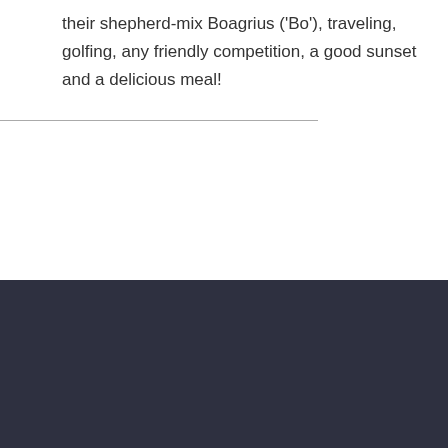their shepherd-mix Boagrius ('Bo'), traveling, golfing, any friendly competition, a good sunset and a delicious meal!
Contact Us
303-731-9974